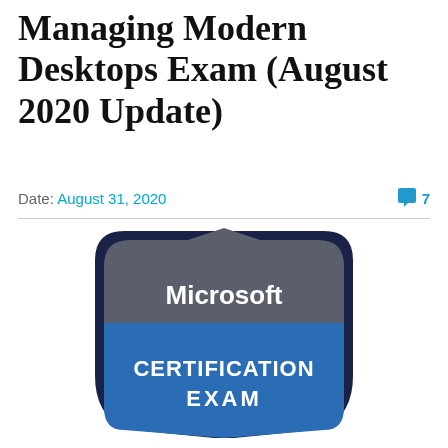Managing Modern Desktops Exam (August 2020 Update)
Date: August 31, 2020
[Figure (logo): Microsoft Certification Exam badge shield logo — dark navy border shield shape with gray top section labeled 'Microsoft' in white bold text, and blue bottom section labeled 'CERTIFICATION EXAM' in white bold uppercase text]